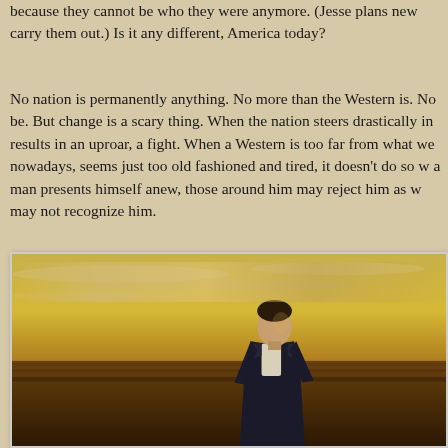because they cannot be who they were anymore. (Jesse plans new carry them out.) Is it any different, America today?
No nation is permanently anything. No more than the Western is. No be. But change is a scary thing. When the nation steers drastically in results in an uproar, a fight. When a Western is too far from what we nowadays, seems just too old fashioned and tired, it doesn't do so w a man presents himself anew, those around him may reject him as w may not recognize him.
A man grows old, the Western grows old, the nation grows old. He w be a positive addition to a longwinded genre. It wants to rule the wor But old bones creak, old muscles cramp, and the larger world keeps stranger places. Life among grand changes is difficult, for those on e
[Figure (photo): A man in a dark suit with white shirt stands in a wide open landscape under a dramatic golden/sepia-toned sunset sky. The horizon shows flat plains. The lighting is warm amber and golden.]